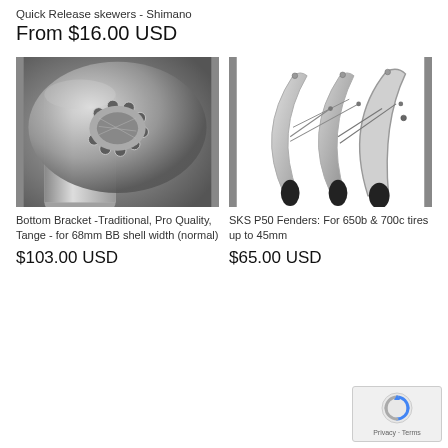Quick Release skewers - Shimano
From $16.00 USD
[Figure (photo): Close-up black and white photo of a bottom bracket bearing cup showing ball bearings and a cylindrical shaft]
Bottom Bracket -Traditional, Pro Quality, Tange - for 68mm BB shell width (normal)
$103.00 USD
[Figure (photo): Black and white product photo of SKS P50 bicycle fenders showing two curved metal fenders with stays]
SKS P50 Fenders: For 650b & 700c tires up to 45mm
$65.00 USD